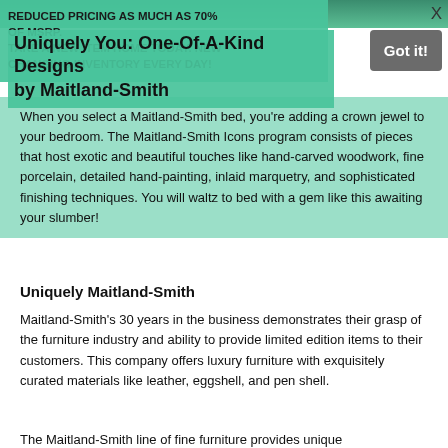[Figure (photo): Green/teal background image strip at top of page]
REDUCED PRICING AS MUCH AS 70% OF MSRP. TAKE A NEW ITEM HOME TODAY. NEW CHANGING INVENTORY EVERY DAY!
Uniquely You: One-Of-A-Kind Designs by Maitland-Smith
Got it!
When you select a Maitland-Smith bed, you're adding a crown jewel to your bedroom. The Maitland-Smith Icons program consists of pieces that host exotic and beautiful touches like hand-carved woodwork, fine porcelain, detailed hand-painting, inlaid marquetry, and sophisticated finishing techniques. You will waltz to bed with a gem like this awaiting your slumber!
Uniquely Maitland-Smith
Maitland-Smith's 30 years in the business demonstrates their grasp of the furniture industry and ability to provide limited edition items to their customers. This company offers luxury furniture with exquisitely curated materials like leather, eggshell, and pen shell.
The Maitland-Smith line of fine furniture provides unique